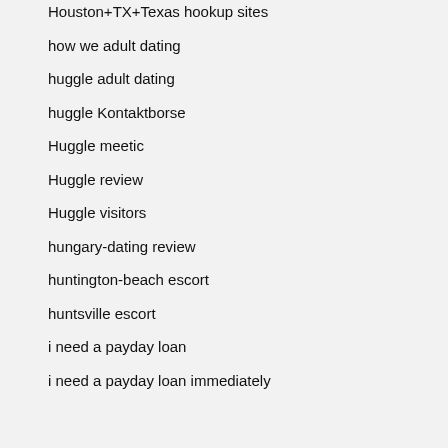Houston+TX+Texas hookup sites
how we adult dating
huggle adult dating
huggle Kontaktborse
Huggle meetic
Huggle review
Huggle visitors
hungary-dating review
huntington-beach escort
huntsville escort
i need a payday loan
i need a payday loan immediately